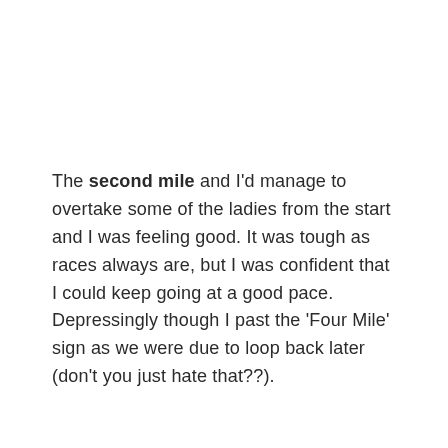The second mile and I'd manage to overtake some of the ladies from the start and I was feeling good. It was tough as races always are, but I was confident that I could keep going at a good pace. Depressingly though I past the 'Four Mile' sign as we were due to loop back later (don't you just hate that??).